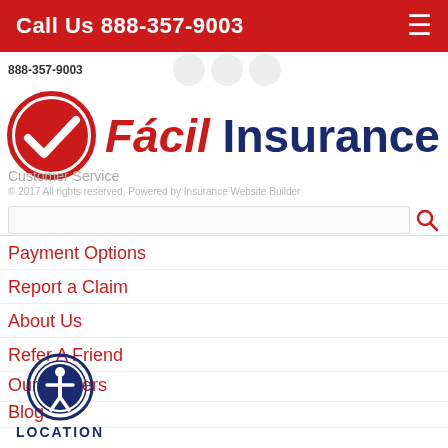Call Us 888-357-9003
888-357-9003
[Figure (logo): Fácil Insurance logo with red checkmark circle and company name in red and dark blue]
Customer Service
Payment Options
Report a Claim
About Us
Refer A Friend
Our Carriers
Blog
Contact Us
LOCATION